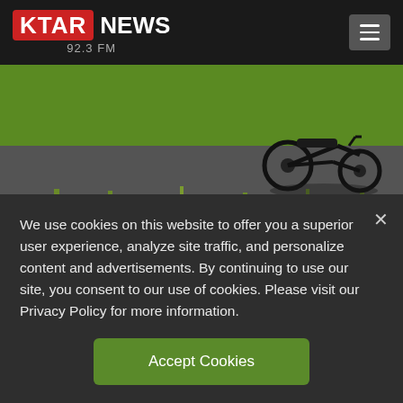KTAR NEWS 92.3 FM
[Figure (photo): Aerial or roadside photo showing a motorcycle on a paved road with grass and fields visible, partial view]
(AP Photo via Brownsville Herald)
BY STEVE KATES/DR. SKY
KTAR.com
We use cookies on this website to offer you a superior user experience, analyze site traffic, and personalize content and advertisements. By continuing to use our site, you consent to our use of cookies. Please visit our Privacy Policy for more information.
Accept Cookies